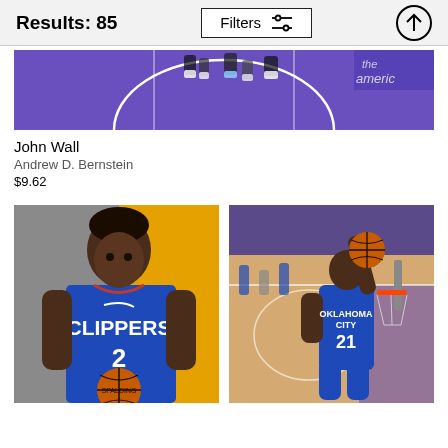Results: 85
Filters
[Figure (photo): Aerial/wide-angle view of NBA basketball court with players' feet visible, purple court floor with white circle markings, partial arena signage visible top right]
John Wall
Andrew D. Bernstein
$9.62
[Figure (photo): NBA player wearing LA Clippers blue jersey number 2 holding a Spalding basketball, posing in front of a gray and yellow background]
[Figure (photo): NBA player wearing Oklahoma City Thunder blue jersey number 21 dunking a basketball near the rim, purple court floor visible below]